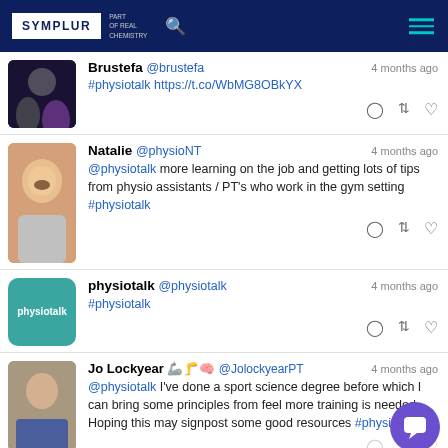SYMPLUR PART OF REAL CHEMISTRY
Brustefa @brustefa 4 months ago #physiotalk https://t.co/WbMG8OBkYX
Natalie @physioNT 4 months ago @physiotalk more learning on the job and getting lots of tips from physio assistants / PT's who work in the gym setting #physiotalk
physiotalk @physiotalk 4 months ago #physiotalk
Jo Lockyear @JolockyearPT 4 months ago @physiotalk I've done a sport science degree before which I can bring some principles from feel more training is needed. Hoping this may signpost some good resources #physiotalk